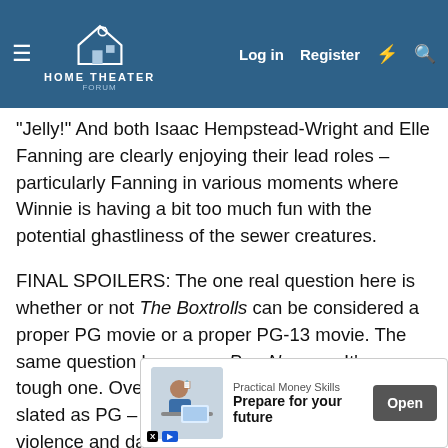Home Theater Forum navigation bar with Log in, Register icons
“Jelly!” And both Isaac Hempstead-Wright and Elle Fanning are clearly enjoying their lead roles – particularly Fanning in various moments where Winnie is having a bit too much fun with the potential ghastliness of the sewer creatures.
FINAL SPOILERS: The one real question here is whether or not The Boxtrolls can be considered a proper PG movie or a proper PG-13 movie. The same question hung over ParaNorman. It’s a tough one. Overall, the movie is probably correctly slated as PG – there are multiple threats of real violence and danger to all the characters, and some moments where we are led to believe that the worst has happened. But the movie repeatedly resolves these moments with a disarming sweetness as we find out how the characters saved themselves or outwitted Snatcher. And yet, there really is an air of menace that hangs over this mo... ...bly from th...
[Figure (screenshot): Advertisement banner: Practical Money Skills - Prepare for your future with Open button]